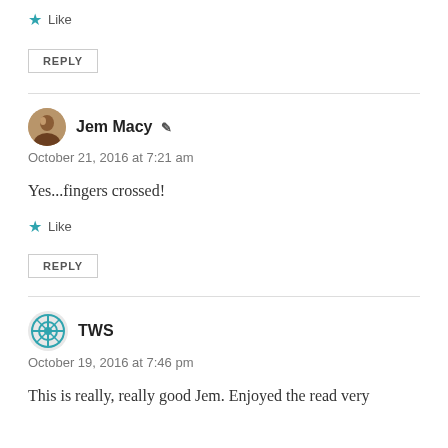Like
REPLY
Jem Macy
October 21, 2016 at 7:21 am
Yes...fingers crossed!
Like
REPLY
TWS
October 19, 2016 at 7:46 pm
This is really, really good Jem. Enjoyed the read very